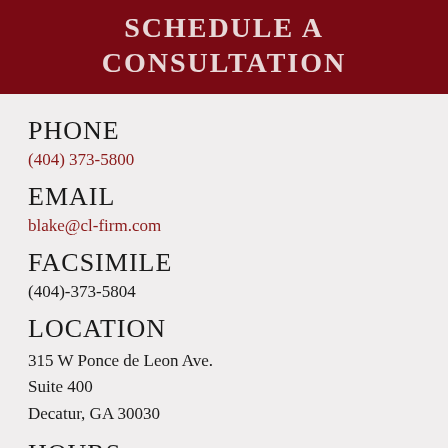SCHEDULE A CONSULTATION
PHONE
(404) 373-5800
EMAIL
blake@cl-firm.com
FACSIMILE
(404)-373-5804
LOCATION
315 W Ponce de Leon Ave.
Suite 400
Decatur, GA 30030
HOURS